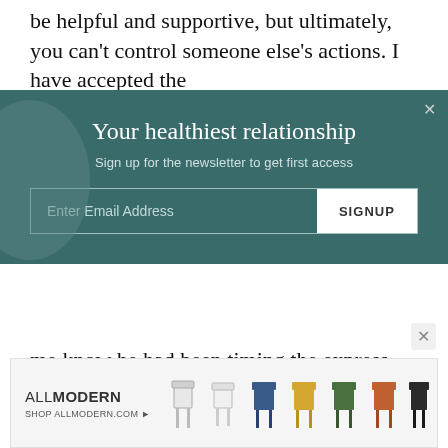be helpful and supportive, but ultimately, you can't control someone else's actions. I have accepted the
[Figure (screenshot): Newsletter signup overlay with teal background. Title: 'Your healthiest relationship'. Subtitle: 'Sign up for the newsletter to get first access'. Email input field and SIGNUP button. Close X button top right. Decorative circle on left.]
me know he had been timing the express train at his local stop, creeping closer and closer to the edge of the platform. Asking, talking, and clinical treatment won't prevent every suicide—but not talking about it surely won't.
[Figure (screenshot): AllModern advertisement banner showing logo 'ALLMODERN SHOP ALLMODERN.COM' with illustrated chairs in various colors (white, blue, yellow, green, brown).]